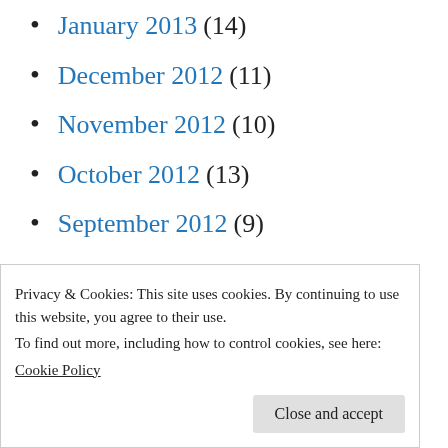January 2013 (14)
December 2012 (11)
November 2012 (10)
October 2012 (13)
September 2012 (9)
August 2012 (8)
July 2012 (4)
June 2012 (2)
May 2012 (2)
March 2012 (5)
February 2012 (9)
Privacy & Cookies: This site uses cookies. By continuing to use this website, you agree to their use. To find out more, including how to control cookies, see here: Cookie Policy
Close and accept